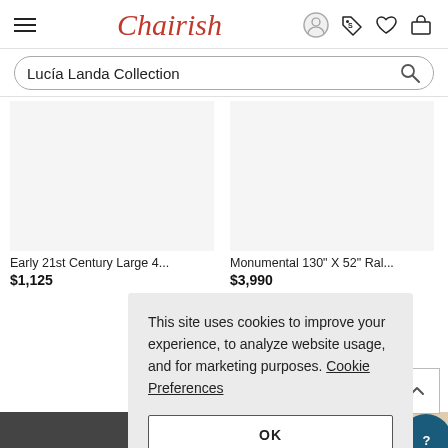Chairish — navigation header with hamburger menu, logo, user icon, tag icon, heart icon, bag icon
Lucía Landa Collection
Early 21st Century Large 4...
$1,125
Monumental 130" X 52" Ral...
$3,990
This site uses cookies to improve your experience, to analyze website usage, and for marketing purposes. Cookie Preferences
OK